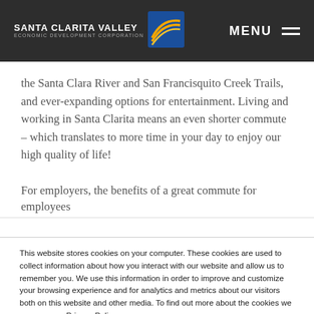[Figure (logo): Santa Clarita Valley Economic Development Corporation logo with blue and gold wave icon on dark background header, with MENU hamburger icon on the right]
the Santa Clara River and San Francisquito Creek Trails, and ever-expanding options for entertainment. Living and working in Santa Clarita means an even shorter commute – which translates to more time in your day to enjoy our high quality of life!
For employers, the benefits of a great commute for employees
This website stores cookies on your computer. These cookies are used to collect information about how you interact with our website and allow us to remember you. We use this information in order to improve and customize your browsing experience and for analytics and metrics about our visitors both on this website and other media. To find out more about the cookies we use, see our Privacy Policy.